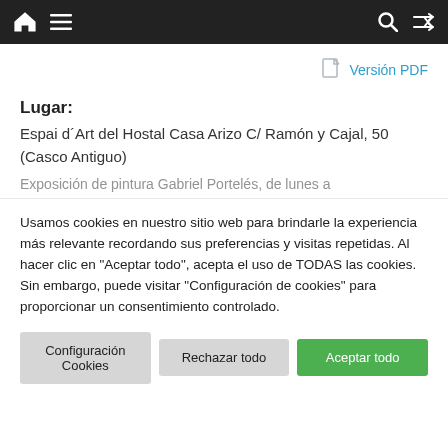Navigation bar with home, menu, search, and shuffle icons
Versión PDF
Lugar:
Espai d'Art del Hostal Casa Arizo C/ Ramón y Cajal, 50 (Casco Antiguo)
Exposición de pintura Gabriel Portelés, de lunes a
Usamos cookies en nuestro sitio web para brindarle la experiencia más relevante recordando sus preferencias y visitas repetidas. Al hacer clic en "Aceptar todo", acepta el uso de TODAS las cookies. Sin embargo, puede visitar "Configuración de cookies" para proporcionar un consentimiento controlado.
Configuración Cookies
Rechazar todo
Aceptar todo